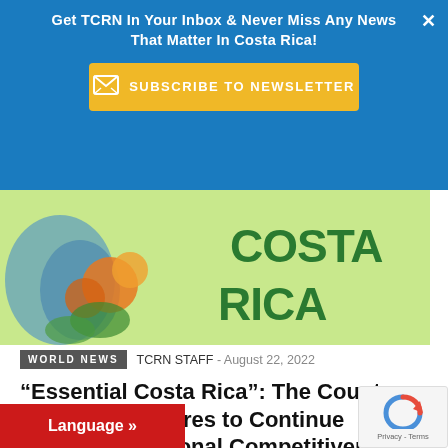Get TCRN In Your Inbox & Never Miss Any News That Matter In Costa Rica!
[Figure (screenshot): Subscribe to Newsletter yellow button with envelope icon on blue background]
[Figure (photo): Hero image showing Costa Rica branding with green background and orange flowers on left, text 'COSTA RICA' in green on right]
WORLD NEWS   TCRN STAFF - August 22, 2022
“Essential Costa Rica”: The Country Brand that Aspires to Continue Promoting National Competitiveness
A strategy launched almost ten years ago has allowed Costa Rica to project itself to the world by promoting tourism, trade and
Language »